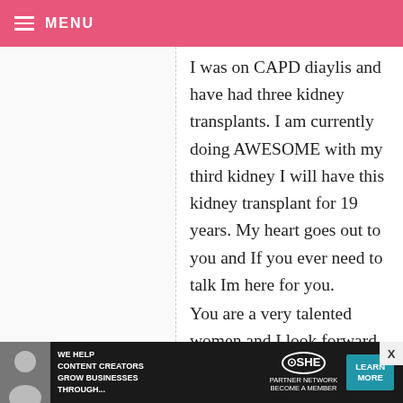MENU
I was on CAPD diaylis and have had three kidney transplants. I am currently doing AWESOME with my third kidney I will have this kidney transplant for 19 years. My heart goes out to you and If you ever need to talk Im here for you.
You are a very talented women and I look forward to reading more about you and trying out all your recipes and your cupcake ideas.
Thanks so much for sharing your
[Figure (infographic): Advertisement banner: WE HELP CONTENT CREATORS GROW BUSINESSES THROUGH... with SHE partner network logo and LEARN MORE button]